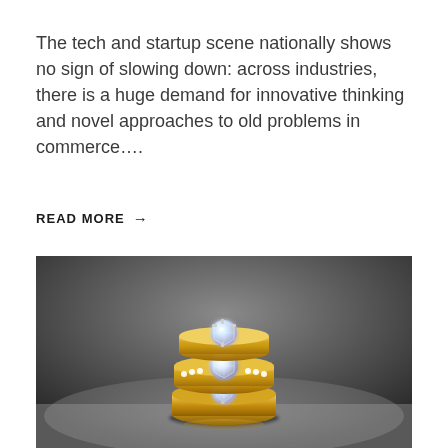The tech and startup scene nationally shows no sign of slowing down: across industries, there is a huge demand for innovative thinking and novel approaches to old problems in commerce….
READ MORE →
[Figure (photo): Close-up photograph of three stacked gold diamond rings on a grey stone surface. The rings feature round brilliant-cut diamonds — one solitaire on top, one pavé band in the middle, and one solitaire at the bottom. The background is dark and blurred.]